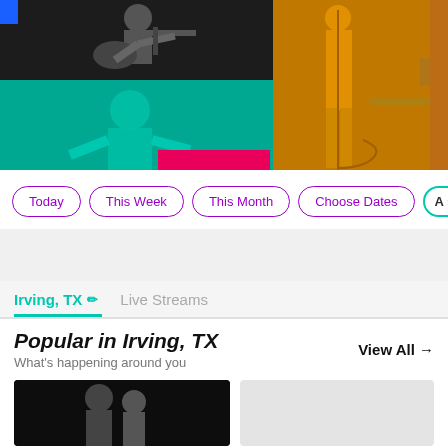[Figure (photo): Hero collage with concert performers: grayscale guitarist top-left, teal-toned female singer bottom-left, yellow-toned performer right. Colorful accent bars in pink, teal, blue, purple.]
Today
This Week
This Month
Choose Dates
A >
Irving, TX  Live Streams
Popular in Irving, TX
What's happening around you
View All →
[Figure (photo): Black and white photo of band members / performers]